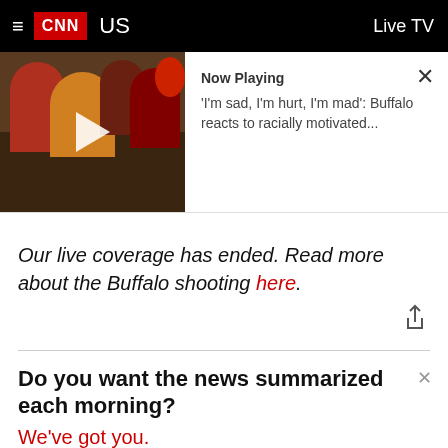CNN US | Live TV
[Figure (screenshot): CNN video player thumbnail showing crowd scene with play button overlay]
Now Playing
'I'm sad, I'm hurt, I'm mad': Buffalo reacts to racially motivated...
Our live coverage has ended. Read more about the Buffalo shooting here.
Do you want the news summarized each morning? We've got you.
Email address | Sign Me Up